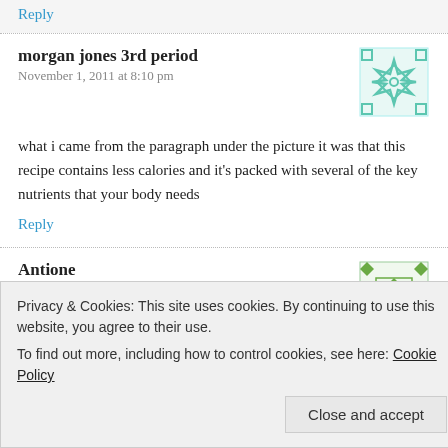I learned that you can use skim milk instead of regular milk.
Reply
morgan jones 3rd period
November 1, 2011 at 8:10 pm
[Figure (illustration): Teal geometric avatar icon with flower/star pattern]
what i came from the paragraph under the picture it was that this recipe contains less calories and it’s packed with several of the key nutrients that your body needs
Reply
Antione
November 3, 2011 at 9:54 am
[Figure (illustration): Green geometric avatar icon with diamond/cross pattern]
Privacy & Cookies: This site uses cookies. By continuing to use this website, you agree to their use. To find out more, including how to control cookies, see here: Cookie Policy
Close and accept